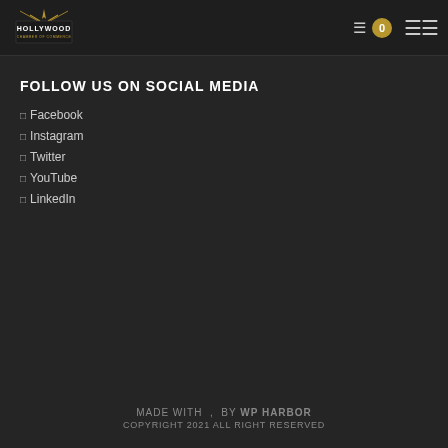Hollywood Chamber of Commerce — logo, cart icon, 0, hamburger menu
FOLLOW US ON SOCIAL MEDIA
Facebook
Instagram
Twitter
YouTube
LinkedIn
MADE WITH , BY WP HARBOR COPYRIGHT 2021 ALL RIGHT RESERVED